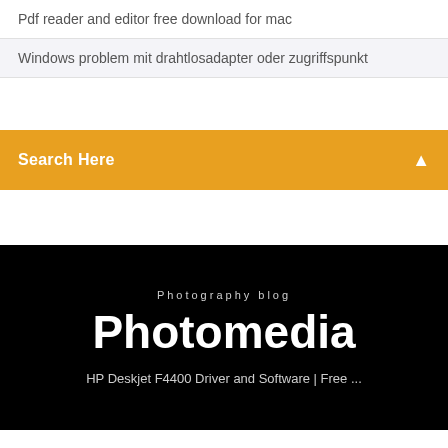Pdf reader and editor free download for mac
Windows problem mit drahtlosadapter oder zugriffspunkt
Search Here
Photography blog
Photomedia
HP Deskjet F4400 Driver and Software | Free ...